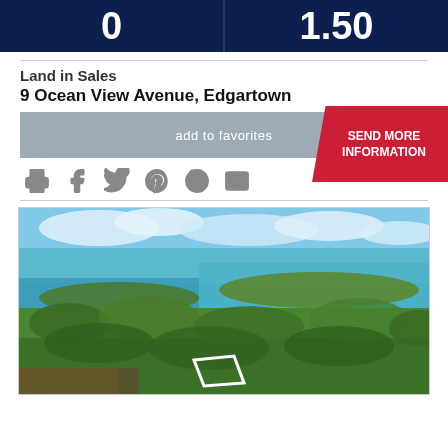[Figure (other): Dark navy header bar showing two values: '0' on the left and '1.50' on the right, separated by a vertical divider]
Land in Sales
9 Ocean View Avenue, Edgartown
add to favorites
SEND MORE INFORMATION
[Figure (other): Social media icons: print, Facebook, Twitter, Pinterest, WhatsApp, email]
[Figure (photo): Aerial photograph of a coastal landscape with blue ocean, harbor, and dense tree coverage. A white outlined lot boundary is visible in the lower center of the image.]